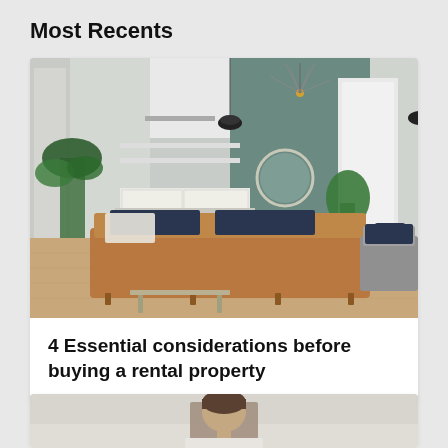Most Recents
[Figure (photo): Interior photo of a modern open-plan living room with a tan leather sofa, dark patterned cushions, wood floor, hanging pendant lights, green plants, and a teal/grey accent wall]
4 Essential considerations before buying a rental property
[Figure (photo): Partial photo of a person (head and shoulders) in a light-colored interior setting, cropped at bottom of page]